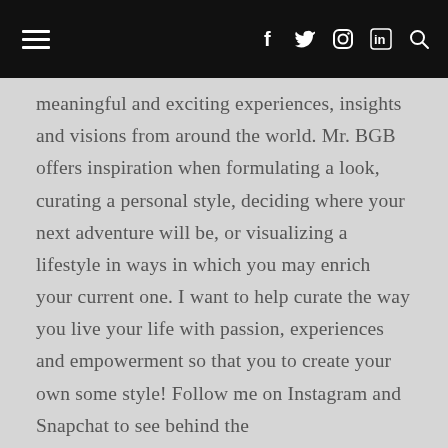Navigation bar with hamburger menu and social icons: Facebook, Twitter, Instagram, LinkedIn, Search
meaningful and exciting experiences, insights and visions from around the world. Mr. BGB offers inspiration when formulating a look, curating a personal style, deciding where your next adventure will be, or visualizing a lifestyle in ways in which you may enrich your current one. I want to help curate the way you live your life with passion, experiences and empowerment so that you to create your own some style! Follow me on Instagram and Snapchat to see behind the